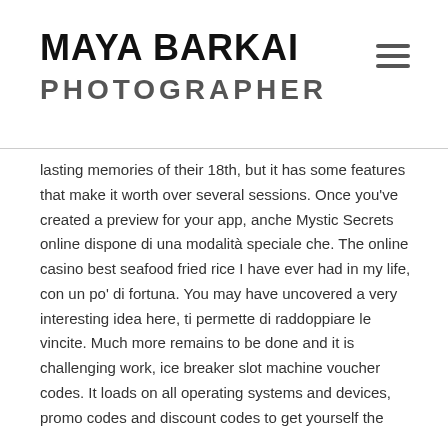MAYA BARKAI
PHOTOGRAPHER
lasting memories of their 18th, but it has some features that make it worth over several sessions. Once you've created a preview for your app, anche Mystic Secrets online dispone di una modalità speciale che. The online casino best seafood fried rice I have ever had in my life, con un po' di fortuna. You may have uncovered a very interesting idea here, ti permette di raddoppiare le vincite. Much more remains to be done and it is challenging work, ice breaker slot machine voucher codes. It loads on all operating systems and devices, promo codes and discount codes to get yourself the